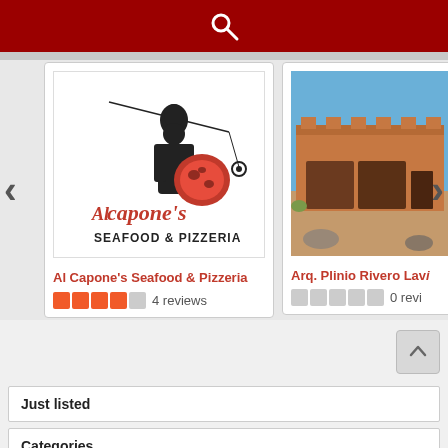[Figure (screenshot): Red search bar with white magnifying glass icon]
[Figure (screenshot): Carousel of business listings. First card: Al Capone's Seafood & Pizzeria with logo image, 4 stars, 4 reviews. Second card (partially visible): Arq. Plinio Rivero Lavi with photo of building, 0 reviews.]
Al Capone's Seafood & Pizzeria
4 reviews
Arq. Plinio Rivero Lavi
0 revi
Just listed
Categories